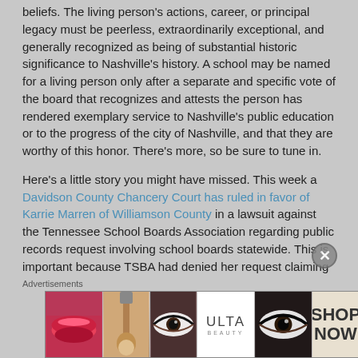beliefs. The living person's actions, career, or principal legacy must be peerless, extraordinarily exceptional, and generally recognized as being of substantial historic significance to Nashville's history. A school may be named for a living person only after a separate and specific vote of the board that recognizes and attests the person has rendered exemplary service to Nashville's public education or to the progress of the city of Nashville, and that they are worthy of this honor. There's more, so be sure to tune in.
Here's a little story you might have missed. This week a Davidson County Chancery Court has ruled in favor of Karrie Marren of Williamson County in a lawsuit against the Tennessee School Boards Association regarding public records request involving school boards statewide. This is important because TSBA had denied her request claiming they were a non-profit private entity and as such not subject to the state's public records laws. The judge didn't see it that way due and saw TSBA as "the functional equivalent of a governmental agency." There
Advertisements
[Figure (photo): Advertisement banner for Ulta Beauty featuring close-up images of lips with red lipstick, a makeup brush, an eye with dramatic makeup, the Ulta Beauty logo, another dramatic eye close-up, and a 'SHOP NOW' call to action button.]